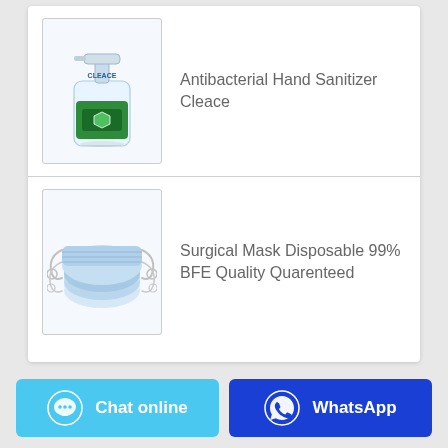[Figure (photo): Antibacterial hand sanitizer pump bottle (Cleace brand) with green label]
Antibacterial Hand Sanitizer Cleace
[Figure (photo): Stack of blue disposable surgical masks with ear loops]
Surgical Mask Disposable 99% BFE Quality Quarenteed
Chat online   WhatsApp